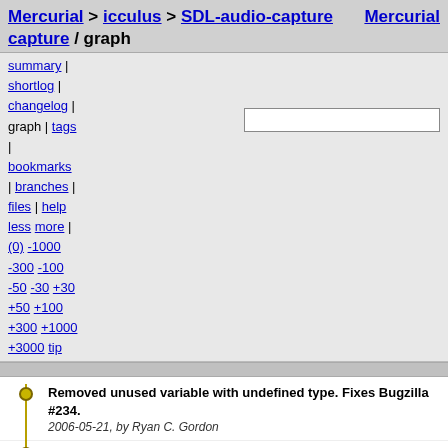Mercurial > icculus > SDL-audio-capture / graph   Mercurial
summary | shortlog | changelog | graph | tags | bookmarks | branches | files | help   less more | (0) -1000 -300 -100 -50 -30 +30 +50 +100 +300 +1000 +3000 tip
Removed unused variable with undefined type. Fixes Bugzilla #234.
2006-05-21, by Ryan C. Gordon
Try to keep SDL keysyms sane regardless of keyboard layout in windib target.
2006-05-18, by Ryan C. Gordon
Make sure sem_wait didn't return early with EINTR. Fixes Bugzilla #231.
2006-05-17, by Ryan C. Gordon
Fixed thread callback calling conventions, updated OS/2 DLL name to SDL12.dll.